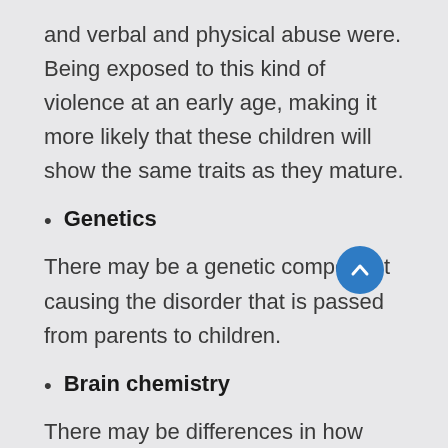and verbal and physical abuse were. Being exposed to this kind of violence at an early age, making it more likely that these children will show the same traits as they mature.
Genetics
There may be a genetic component causing the disorder that is passed from parents to children.
Brain chemistry
There may be differences in how serotonin, an important chemical messenger in the brain, works in people with intermittent explosive